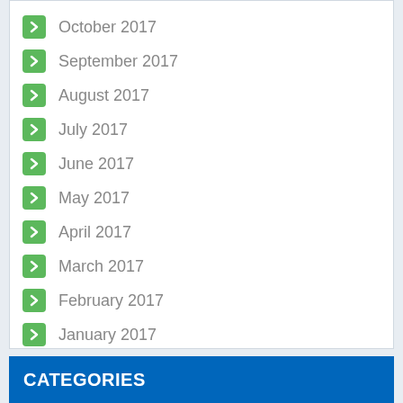October 2017
September 2017
August 2017
July 2017
June 2017
May 2017
April 2017
March 2017
February 2017
January 2017
CATEGORIES